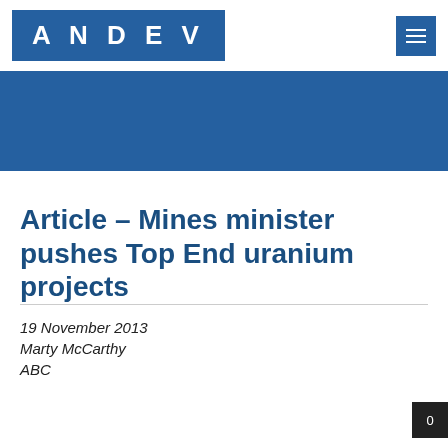ANDEV
[Figure (illustration): Blue banner/hero image area]
Article – Mines minister pushes Top End uranium projects
19 November 2013
Marty McCarthy
ABC